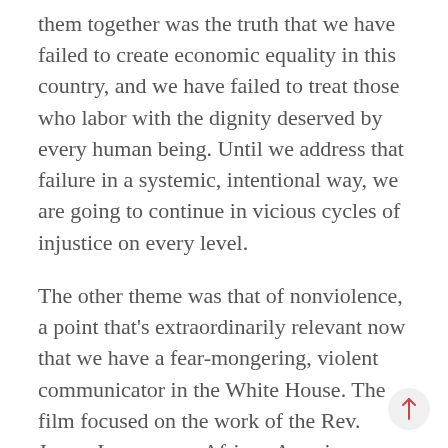them together was the truth that we have failed to create economic equality in this country, and we have failed to treat those who labor with the dignity deserved by every human being. Until we address that failure in a systemic, intentional way, we are going to continue in vicious cycles of injustice on every level.
The other theme was that of nonviolence, a point that's extraordinarily relevant now that we have a fear-mongering, violent communicator in the White House. The film focused on the work of the Rev. James Lawson, an African American...